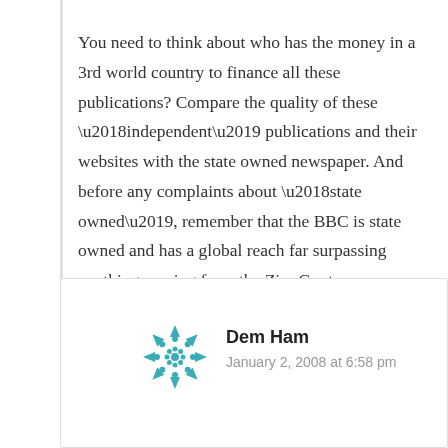You need to think about who has the money in a 3rd world country to finance all these publications? Compare the quality of these ‘independent’ publications and their websites with the state owned newspaper. And before any complaints about ‘state owned’, remember that the BBC is state owned and has a global reach far surpassing anything coming from the Zim Govt.
Log in to Reply
Dem Ham
January 2, 2008 at 6:58 pm